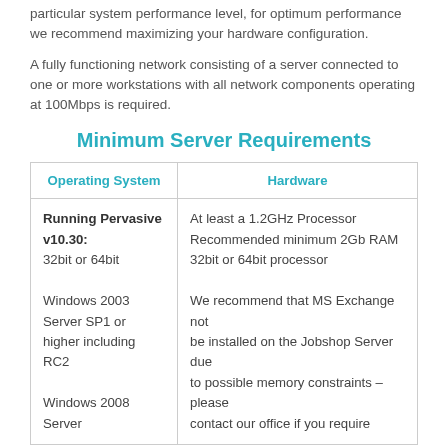particular system performance level, for optimum performance we recommend maximizing your hardware configuration.
A fully functioning network consisting of a server connected to one or more workstations with all network components operating at 100Mbps is required.
Minimum Server Requirements
| Operating System | Hardware |
| --- | --- |
| Running Pervasive v10.30:
32bit or 64bit

Windows 2003 Server SP1 or higher including RC2

Windows 2008 Server | At least a 1.2GHz Processor
Recommended minimum 2Gb RAM
32bit or 64bit processor

We recommend that MS Exchange not be installed on the Jobshop Server due to possible memory constraints – please contact our office if you require further |